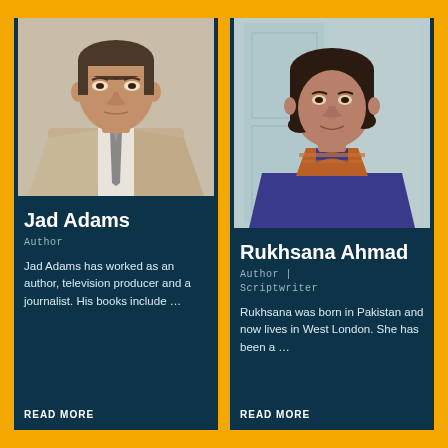[Figure (photo): Portrait photo of Jad Adams, a middle-aged man in a suit and tie]
Jad Adams
Author
Jad Adams has worked as an author, television producer and a journalist. His books include …
READ MORE
[Figure (photo): Portrait photo of Rukhsana Ahmad, a woman in a blue embroidered top with short dark hair]
Rukhsana Ahmad
Author | Scriptwriter
Rukhsana was born in Pakistan and now lives in West London. She has been a …
READ MORE